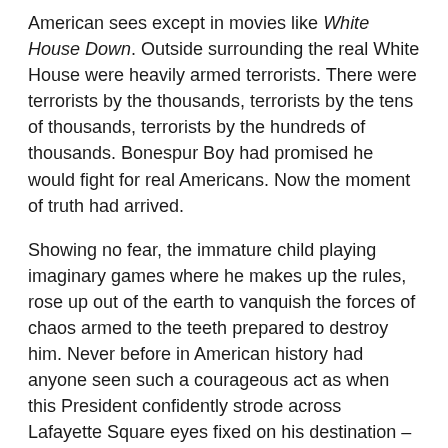American sees except in movies like White House Down. Outside surrounding the real White House were heavily armed terrorists. There were terrorists by the thousands, terrorists by the tens of thousands, terrorists by the hundreds of thousands. Bonespur Boy had promised he would fight for real Americans. Now the moment of truth had arrived.
Showing no fear, the immature child playing imaginary games where he makes up the rules, rose up out of the earth to vanquish the forces of chaos armed to the teeth prepared to destroy him. Never before in American history had anyone seen such a courageous act as when this President confidently strode across Lafayette Square eyes fixed on his destination – a photo-op in front of a historic church where he would brandish a Bible upside down and destroy those who would destroy him.